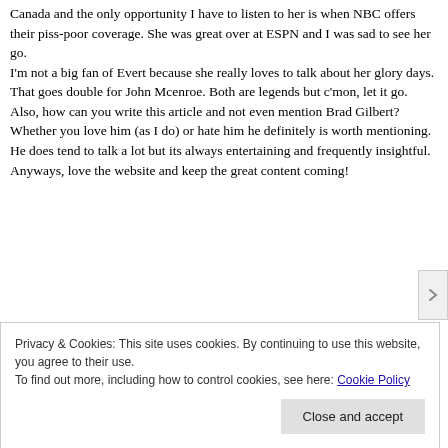Canada and the only opportunity I have to listen to her is when NBC offers their piss-poor coverage. She was great over at ESPN and I was sad to see her go.
I'm not a big fan of Evert because she really loves to talk about her glory days. That goes double for John Mcenroe. Both are legends but c'mon, let it go.
Also, how can you write this article and not even mention Brad Gilbert? Whether you love him (as I do) or hate him he definitely is worth mentioning. He does tend to talk a lot but its always entertaining and frequently insightful.
Anyways, love the website and keep the great content coming!
Privacy & Cookies: This site uses cookies. By continuing to use this website, you agree to their use.
To find out more, including how to control cookies, see here: Cookie Policy